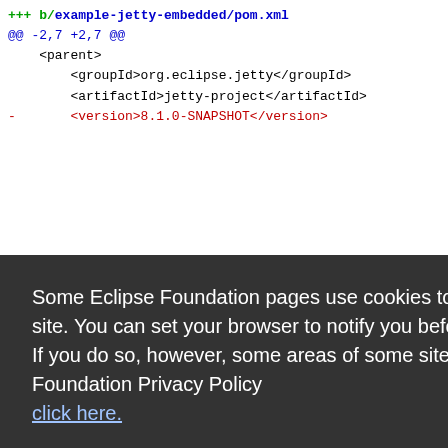[Figure (screenshot): Code diff view showing XML changes in example-jetty-embedded/pom.xml with a cookie consent overlay dialog on top. The diff shows file header, @@ line numbers, XML parent block with groupId, artifactId, version lines (red for removed, blue for added). A dark overlay shows a cookie consent message with Decline and Allow cookies buttons.]
Some Eclipse Foundation pages use cookies to better serve you when you return to the site. You can set your browser to notify you before you receive a cookie or turn off cookies. If you do so, however, some areas of some sites may not function properly. To read Eclipse Foundation Privacy Policy click here.
Decline
Allow cookies